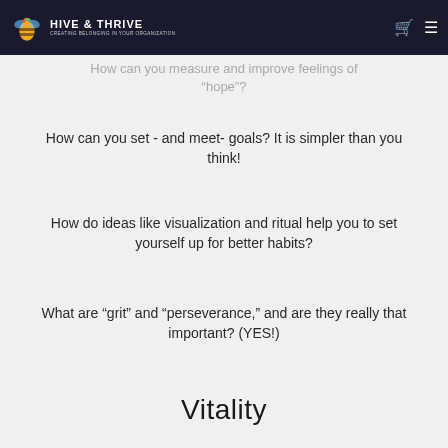HIVE & THRIVE — CREATING BELONGING IN YOUR ORGANIZATION
How can you measure and improve feelings of “hope”?
How can you set - and meet- goals? It is simpler than you think!
How do ideas like visualization and ritual help you to set yourself up for better habits?
What are “grit” and “perseverance,” and are they really that important? (YES!)
Vitality